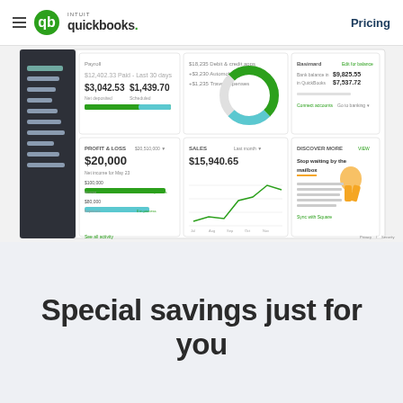[Figure (screenshot): QuickBooks navigation bar with hamburger menu, Intuit QuickBooks logo, and Pricing link on the right]
[Figure (screenshot): QuickBooks dashboard screenshot showing payroll, profit & loss, sales line chart, bank account summary, and discover more sections with sidebar navigation]
Special savings just for you